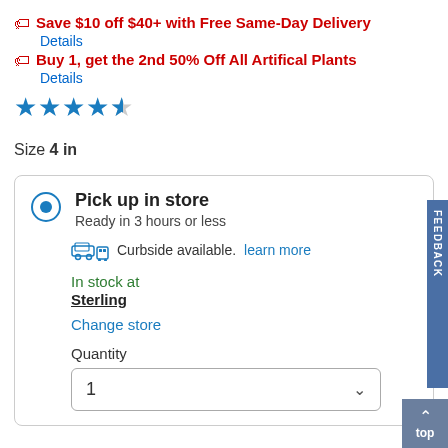Save $10 off $40+ with Free Same-Day Delivery
Details
Buy 1, get the 2nd 50% Off All Artifical Plants
Details
[Figure (other): 4.5 out of 5 star rating shown with filled and half-filled stars]
Size 4 in
Pick up in store
Ready in 3 hours or less
Curbside available. learn more
In stock at
Sterling
Change store
Quantity
1